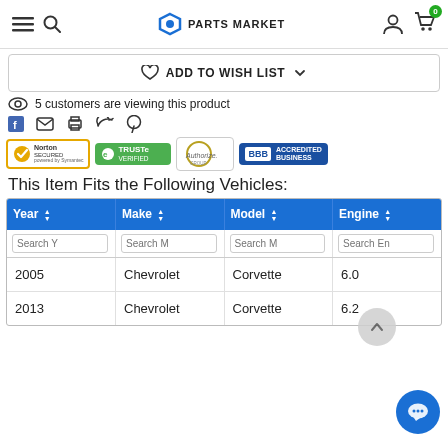PARTS MARKET
ADD TO WISH LIST
5 customers are viewing this product
[Figure (logo): Norton Secured, TRUSTe Verified, Authorize.Net, BBB Accredited Business trust badges]
This Item Fits the Following Vehicles:
| Year | Make | Model | Engine |
| --- | --- | --- | --- |
| 2005 | Chevrolet | Corvette | 6.0 |
| 2013 | Chevrolet | Corvette | 6.2 |